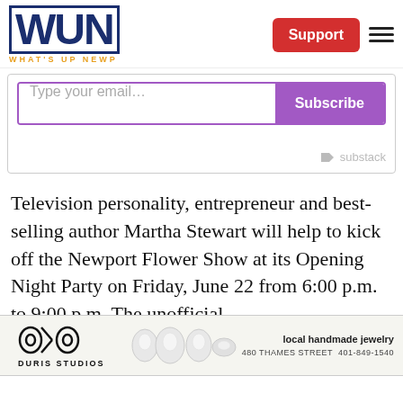WUN WHAT'S UP NEWP — Support
[Figure (screenshot): Email subscription widget with purple Subscribe button and Substack branding]
Television personality, entrepreneur and best-selling author Martha Stewart will help to kick off the Newport Flower Show at its Opening Night Party on Friday, June 22 from 6:00 p.m. to 9:00 p.m. The unofficial
[Figure (other): Duris Studios advertisement banner showing logo, handmade jewelry images, text: local handmade jewelry, 480 THAMES STREET 401-849-1540]